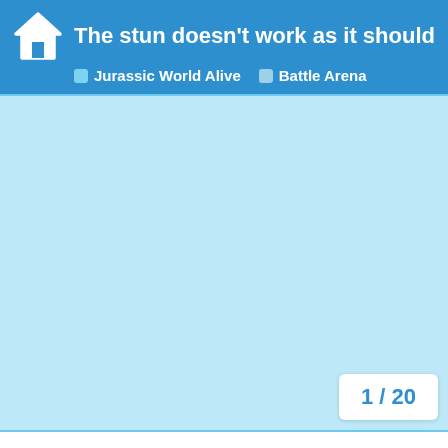The stun doesn't work as it should | Jurassic World Alive | Battle Arena
[Figure (other): Light blue empty content area filling most of the page]
1 / 20